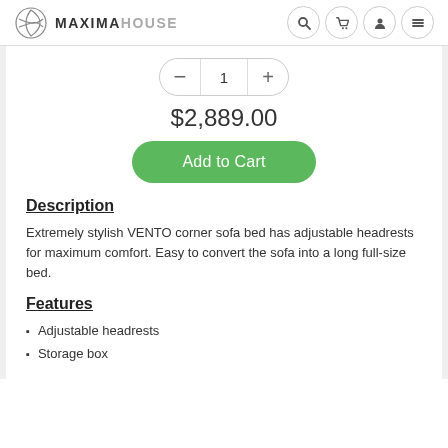MAXIMAHOUSE
1
$2,889.00
Add to Cart
Description
Extremely stylish VENTO corner sofa bed has adjustable headrests for maximum comfort. Easy to convert the sofa into a long full-size bed.
Features
Adjustable headrests
Storage box